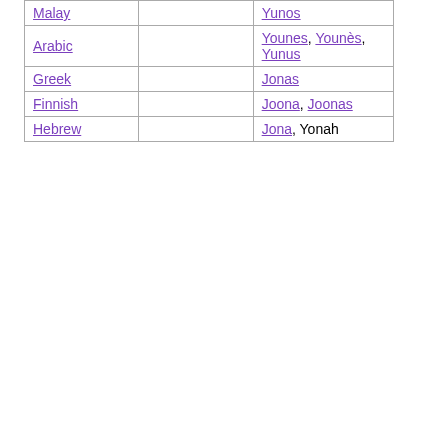| Language |  | Names |
| --- | --- | --- |
| Malay |  | Yunos |
| Arabic |  | Younes, Younès, Yunus |
| Greek |  | Jonas |
| Finnish |  | Joona, Joonas |
| Hebrew |  | Jona, Yonah |
| Name | Languages of Use |
| --- | --- |
| Giona | Italian |
| Jona | English, Hebrew |
| Jonah | English |
| Jonas | German, Greek |
| Joona | Finnish |
| Joonas | Finnish |
| Yona | English |
| Yonah | Hebrew |
| Younes | Arabic |
| Younès | French, Arabic |
| Yunos | Malay |
| Yunus | Turkish, Arabic |